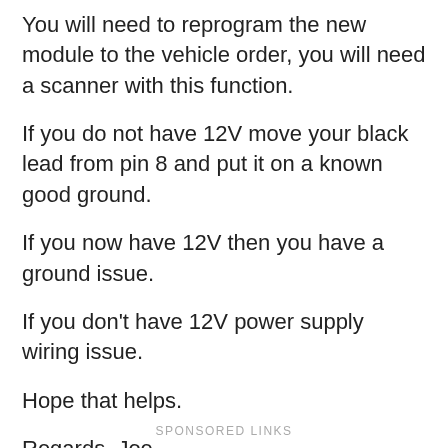You will need to reprogram the new module to the vehicle order, you will need a scanner with this function.
If you do not have 12V move your black lead from pin 8 and put it on a known good ground.
If you now have 12V then you have a ground issue.
If you don't have 12V power supply wiring issue.
Hope that helps.
Regards, Joe
SPONSORED LINKS